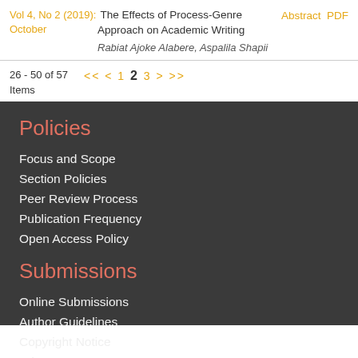Vol 4, No 2 (2019): October — The Effects of Process-Genre Approach on Academic Writing — Rabiat Ajoke Alabere, Aspalila Shapii — Abstract PDF
26 - 50 of 57 Items
<< < 1 2 3 > >>
Policies
Focus and Scope
Section Policies
Peer Review Process
Publication Frequency
Open Access Policy
Submissions
Online Submissions
Author Guidelines
Copyright Notice
Privacy Statement